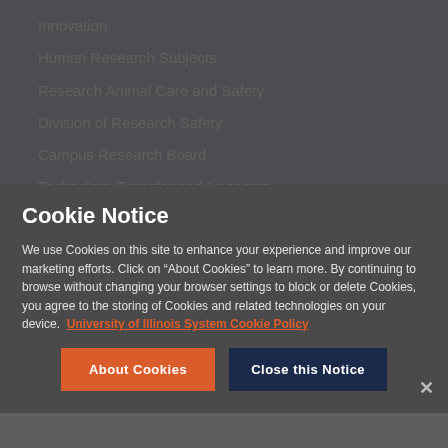Innovation
Human Research Subjects
Research Animal Care and Safety
Division of Research Safety
Campus Research Board
Technology Transfer and Licensing
Research Park
Cookie Notice
We use Cookies on this site to enhance your experience and improve our marketing efforts. Click on “About Cookies” to learn more. By continuing to browse without changing your browser settings to block or delete Cookies, you agree to the storing of Cookies and related technologies on your device. University of Illinois System Cookie Policy